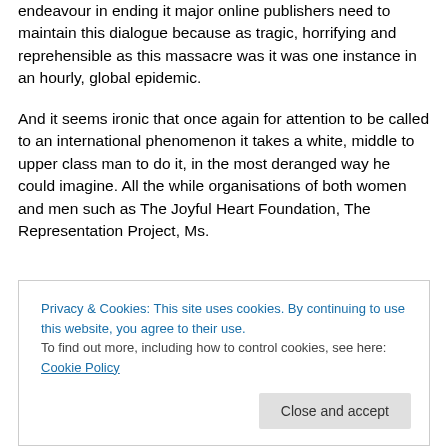endeavour in ending it major online publishers need to maintain this dialogue because as tragic, horrifying and reprehensible as this massacre was it was one instance in an hourly, global epidemic.
And it seems ironic that once again for attention to be called to an international phenomenon it takes a white, middle to upper class man to do it, in the most deranged way he could imagine. All the while organisations of both women and men such as The Joyful Heart Foundation, The Representation Project, Ms.
Privacy & Cookies: This site uses cookies. By continuing to use this website, you agree to their use. To find out more, including how to control cookies, see here: Cookie Policy
suggestion. it is now the most heinous war crimes are